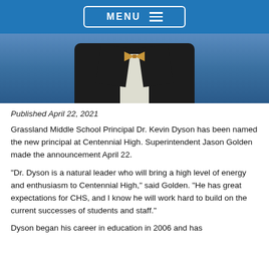MENU
[Figure (photo): Photo of Dr. Kevin Dyson wearing a plaid suit jacket and bow tie, against a blue background]
Published April 22, 2021
Grassland Middle School Principal Dr. Kevin Dyson has been named the new principal at Centennial High. Superintendent Jason Golden made the announcement April 22.
"Dr. Dyson is a natural leader who will bring a high level of energy and enthusiasm to Centennial High," said Golden. "He has great expectations for CHS, and I know he will work hard to build on the current successes of students and staff."
Dyson began his career in education in 2006 and has